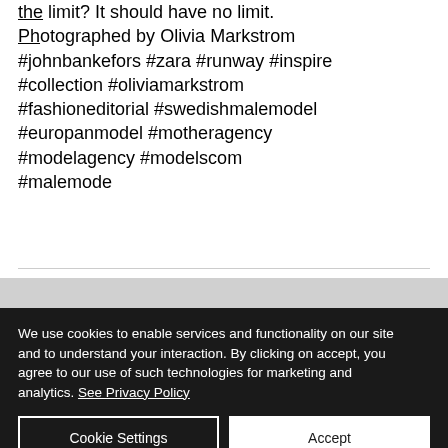the limit? It should have no limit. Photographed by Olivia Markstrom #johnbankefors #zara #runway #inspire #collection #oliviamarkstrom #fashioneditorial #swedishmalemodel #europanmodel #motheragency #modelagency #modelscom #malemode
We use cookies to enable services and functionality on our site and to understand your interaction. By clicking on accept, you agree to our use of such technologies for marketing and analytics. See Privacy Policy
Cookie Settings
Accept